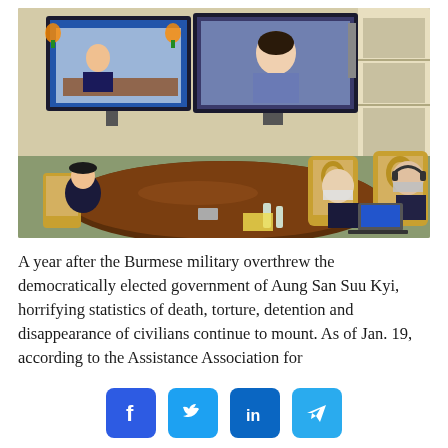[Figure (photo): A diplomatic meeting room scene: officials seated around a large dark wooden table facing multiple television screens showing a virtual meeting with participants including a woman on screen. The room has ornate gold-trimmed chairs. Some attendees wear masks.]
A year after the Burmese military overthrew the democratically elected government of Aung San Suu Kyi, horrifying statistics of death, torture, detention and disappearance of civilians continue to mount. As of Jan. 19, according to the Assistance Association for
[Figure (infographic): Social media share buttons: Facebook (f), Twitter (bird), LinkedIn (in), Telegram (paper plane arrow)]